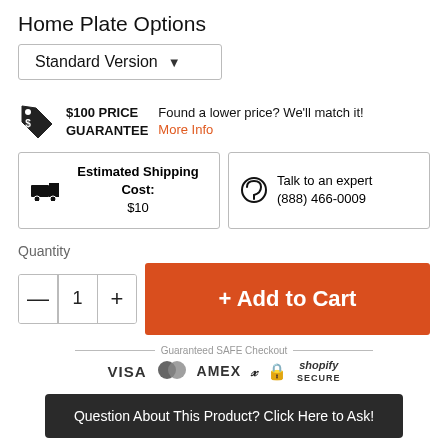Home Plate Options
Standard Version ▾
$100 PRICE GUARANTEE   Found a lower price? We'll match it!   More Info
Estimated Shipping Cost: $10   Talk to an expert (888) 466-0009
Quantity
— 1 +   + Add to Cart
Guaranteed SAFE Checkout   VISA   AMEX   PayPal   shopify secure
Question About This Product? Click Here to Ask!
Description